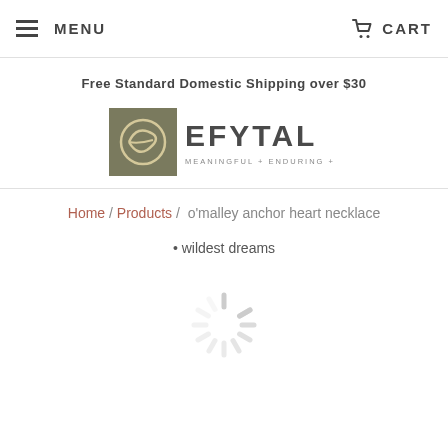MENU   CART
Free Standard Domestic Shipping over $30
[Figure (logo): eEFYTAL logo with tagline MEANINGFUL + ENDURING + CONNECTED]
Home / Products / o'malley anchor heart necklace • wildest dreams
[Figure (other): Loading spinner (animated loading indicator)]